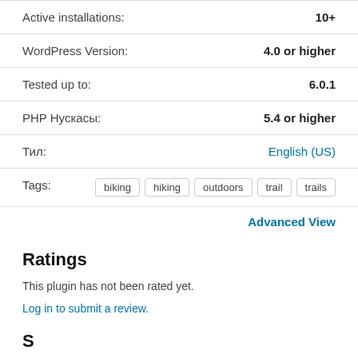| Active installations: | 10+ |
| WordPress Version: | 4.0 or higher |
| Tested up to: | 6.0.1 |
| PHP Нускасы: | 5.4 or higher |
| Тил: | English (US) |
| Tags: | biking hiking outdoors trail trails |
Advanced View
Ratings
This plugin has not been rated yet.
Log in to submit a review.
Support